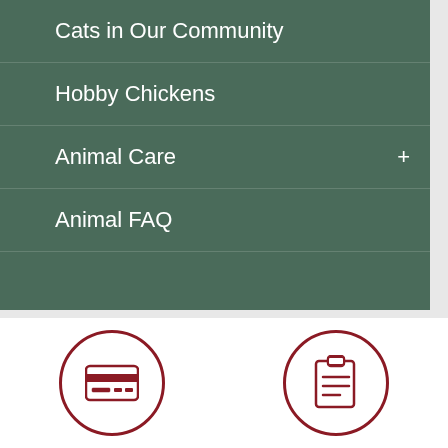Cats in Our Community
Hobby Chickens
Animal Care
Animal FAQ
[Figure (illustration): Online Bill Pay icon: credit card inside a circle, dark red color]
Online Bill Pay
[Figure (illustration): Agendas & Minutes icon: clipboard with lines inside a circle, dark red color]
Agendas & Minutes